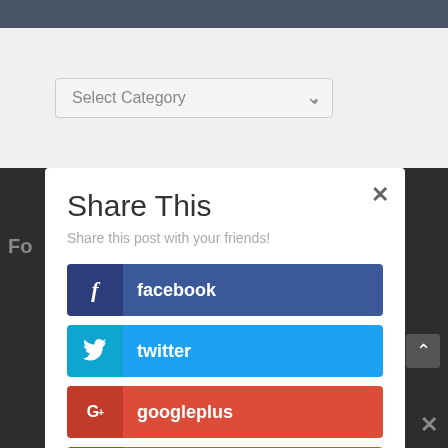[Figure (screenshot): A 'Select Category' dropdown widget on a light gray background bar]
[Figure (screenshot): A 'Share This' modal dialog with social sharing buttons: facebook (dark blue), twitter (light blue), googleplus (red), reddit (orange-red), like (coral red). Has a close X button in top right corner and subtitle 'Share this post with your friends!']